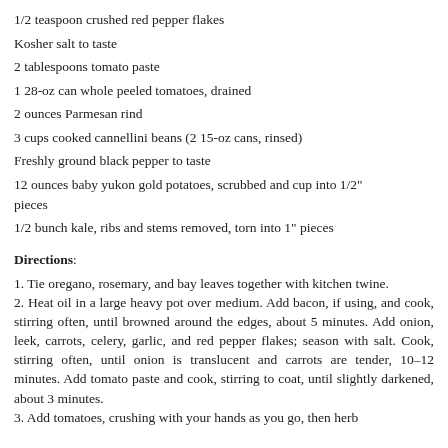1/2 teaspoon crushed red pepper flakes
Kosher salt to taste
2 tablespoons tomato paste
1 28-oz can whole peeled tomatoes, drained
2 ounces Parmesan rind
3 cups cooked cannellini beans (2 15-oz cans, rinsed)
Freshly ground black pepper to taste
12 ounces baby yukon gold potatoes, scrubbed and cup into 1/2" pieces
1/2 bunch kale, ribs and stems removed, torn into 1" pieces
Directions:
1. Tie oregano, rosemary, and bay leaves together with kitchen twine.
2. Heat oil in a large heavy pot over medium. Add bacon, if using, and cook, stirring often, until browned around the edges, about 5 minutes. Add onion, leek, carrots, celery, garlic, and red pepper flakes; season with salt. Cook, stirring often, until onion is translucent and carrots are tender, 10–12 minutes. Add tomato paste and cook, stirring to coat, until slightly darkened, about 3 minutes.
3. Add tomatoes, crushing with your hands as you go, then herb
3. Add tomatoes, crushing with your hands as you go, then herb